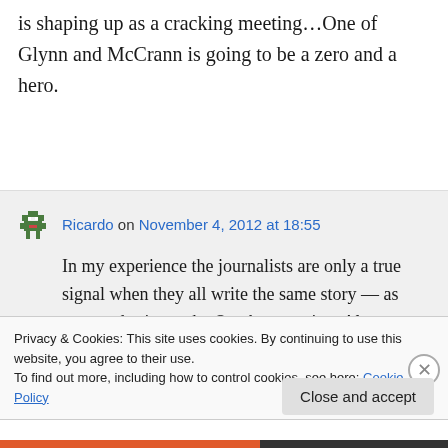is shaping up as a cracking meeting...One of Glynn and McCrann is going to be a zero and a hero.
Ricardo on November 4, 2012 at 18:55
In my experience the journalists are only a true signal when they all write the same story — as occurred prior to the October meeting. Alone, Mitchell is the most reliable
Privacy & Cookies: This site uses cookies. By continuing to use this website, you agree to their use.
To find out more, including how to control cookies, see here: Cookie Policy
Close and accept